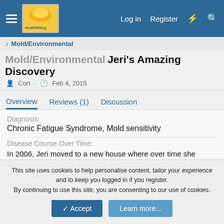HealthRising — Log in  Register
< Mold/Environmental
Mold/Environmental   Jeri's Amazing Discovery
Cort · Feb 4, 2015
Overview  Reviews (1)  Discussion
Diagnosis:
Chronic Fatigue Syndrome, Mold sensitivity
Disease Course Over Time:
In 2006, Jeri moved to a new house where over time she began to experience profound exhaustion/severe pain, OI/ POTS, daily migraines, dyslexia, hypoglycemia, swollen lymph nodes etes.
Mold Avoidance Approaches That Made A Difference:
This site uses cookies to help personalise content, tailor your experience and to keep you logged in if you register. By continuing to use this site, you are consenting to our use of cookies.
Accept  Learn more...